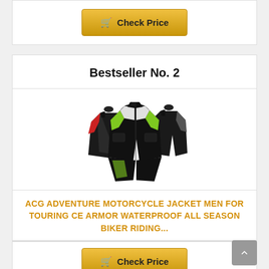Check Price
Bestseller No. 2
[Figure (photo): Three motorcycle jackets displayed together — black with green, white, and red accent colors]
ACG ADVENTURE MOTORCYCLE JACKET MEN FOR TOURING CE ARMOR WATERPROOF ALL SEASON BIKER RIDING...
Check Price